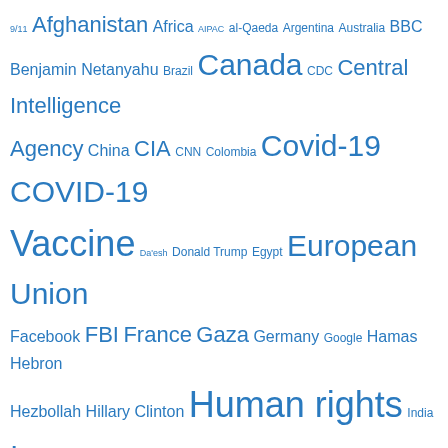[Figure (infographic): A tag cloud of political, geographic, and news-related terms in various font sizes (indicating frequency/importance), all in blue on white background. Terms include: 9/11, Afghanistan, Africa, AIPAC, al-Qaeda, Argentina, Australia, BBC, Benjamin Netanyahu, Brazil, Canada, CDC, Central Intelligence Agency, China, CIA, CNN, Colombia, Covid-19, COVID-19 Vaccine, Da'esh, Donald Trump, Egypt, European Union, Facebook, FBI, France, Gaza, Germany, Google, Hamas, Hebron, Hezbollah, Hillary Clinton, Human rights, India, Iran, Iraq, ISIS, Israel, Israeli settlement, Japan, Jerusalem, Joe Biden, Korea, Latin America, Lebanon, Libya, Middle East, National Security Agency, NATO, New York Times, North Korea, NSA, Obama, Pakistan, Palestine, Qatar, Russia, Sanctions against Iran, Saudi Arabia, Syria, The Guardian, Turkey, Twitter, UAE, UK, Ukraine, United Nations]